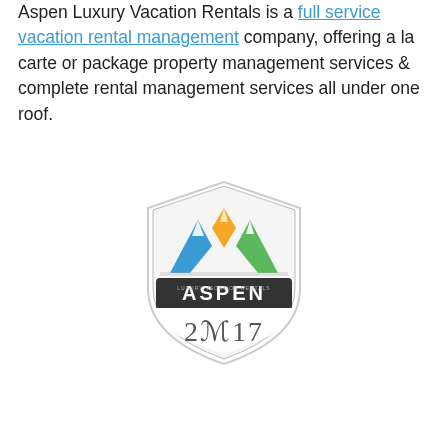Aspen Luxury Vacation Rentals is a full service vacation rental management company, offering a la carte or package property management services & complete rental management services all under one roof.
[Figure (logo): Aspen 2017 shield-shaped logo with mountain peaks in blue, orange, and green colors, with 'ASPEN' text on a dark banner and '2017' below]